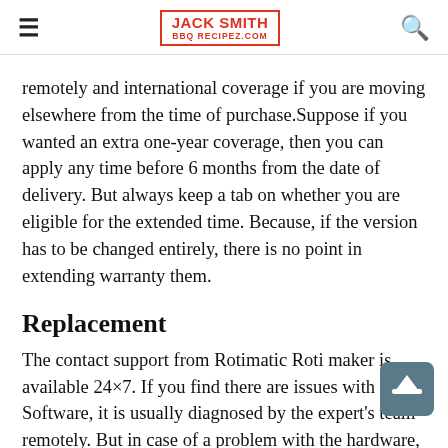JACK SMITH BBQRECIPEZ.COM
remotely and international coverage if you are moving elsewhere from the time of purchase.Suppose if you wanted an extra one-year coverage, then you can apply any time before 6 months from the date of delivery. But always keep a tab on whether you are eligible for the extended time. Because, if the version has to be changed entirely, there is no point in extending warranty them.
Replacement
The contact support from Rotimatic Roti maker is available 24×7. If you find there are issues with the Software, it is usually diagnosed by the expert's team remotely. But in case of a problem with the hardware, the seller sends a return label within 48 hours. All you need to do is pack the roti maker attaches the label and